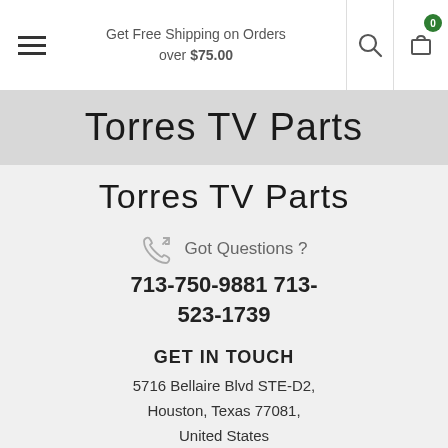Get Free Shipping on Orders over $75.00
Torres TV Parts
Torres TV Parts
Got Questions ?
713-750-9881 713-523-1739
GET IN TOUCH
5716 Bellaire Blvd STE-D2, Houston, Texas 77081, United States
E-mail to
torrestvparts@yahoo.com
CUSTOMER CARE
Contact Us